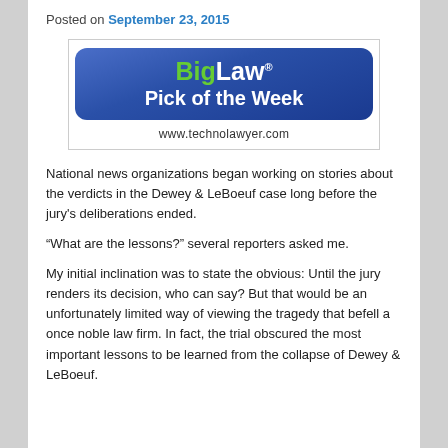Posted on September 23, 2015
[Figure (logo): BigLaw Pick of the Week logo with www.technolawyer.com URL]
National news organizations began working on stories about the verdicts in the Dewey & LeBoeuf case long before the jury's deliberations ended.
“What are the lessons?” several reporters asked me.
My initial inclination was to state the obvious: Until the jury renders its decision, who can say? But that would be an unfortunately limited way of viewing the tragedy that befell a once noble law firm. In fact, the trial obscured the most important lessons to be learned from the collapse of Dewey & LeBoeuf.